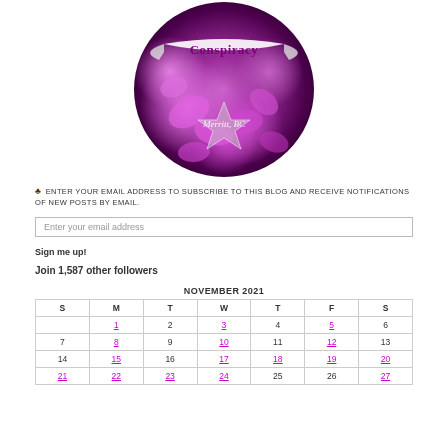[Figure (logo): Circular logo with purple flower background, text 'Conspiracy' on a ribbon banner, and 'Merritt, BC' on a star shape below]
♣ ENTER YOUR EMAIL ADDRESS TO SUBSCRIBE TO THIS BLOG AND RECEIVE NOTIFICATIONS OF NEW POSTS BY EMAIL.
Enter your email address
Sign me up!
Join 1,587 other followers
| S | M | T | W | T | F | S |
| --- | --- | --- | --- | --- | --- | --- |
|  | 1 | 2 | 3 | 4 | 5 | 6 |
| 7 | 8 | 9 | 10 | 11 | 12 | 13 |
| 14 | 15 | 16 | 17 | 18 | 19 | 20 |
| 21 | 22 | 23 | 24 | 25 | 26 | 27 |